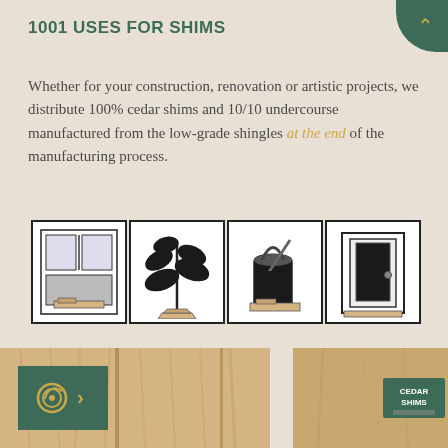1001 USES FOR SHIMS
Whether for your construction, renovation or artistic projects, we distribute 100% cedar shims and 10/10 undercourse manufactured from the low-grade shingles at the end of the manufacturing process.
[Figure (illustration): Four black-and-white illustrations on spiky burst backgrounds showing uses for shims: a window with shims, a plant with a shim base, a paint bucket on shims, and a door with shims]
FIND OUT AVAILABLE PACKAGE SIZES ›
[Figure (photo): Photo of light-colored cedar wood planks]
[Figure (photo): Photo of cedar shims stack with a green Cedar Shims label]
[Figure (illustration): Phone/contact icon in gold on a green background with an arrow chevron]